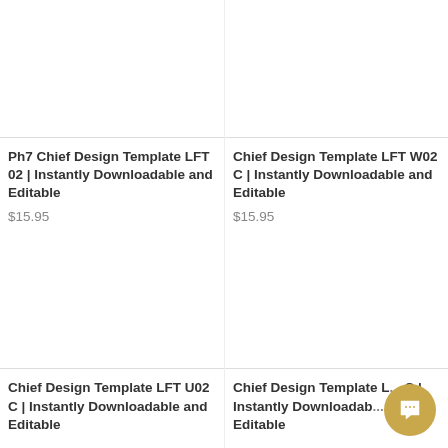Ph7 Chief Design Template LFT 02 | Instantly Downloadable and Editable
$15.95
Chief Design Template LFT W02 C | Instantly Downloadable and Editable
$15.95
Chief Design Template LFT U02 C | Instantly Downloadable and Editable
Chief Design Template L... C | Instantly Downloadab... Editable